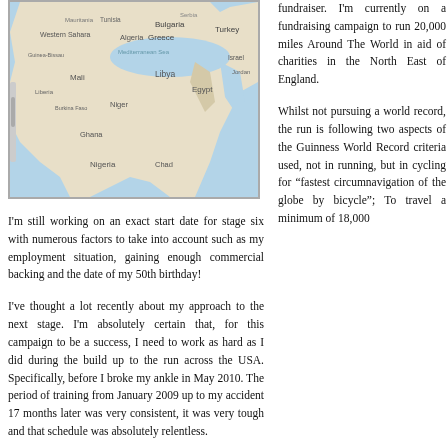[Figure (map): A map showing North Africa, West Africa, and the Mediterranean region including countries such as Mauritania, Algeria, Mali, Libya, Niger, Nigeria, Chad, Egypt, Tunisia, Turkey, Greece, Bulgaria, and adjacent seas including the Mediterranean Sea and Red Sea.]
fundraiser. I'm currently on a fundraising campaign to run 20,000 miles Around The World in aid of charities in the North East of England.
I'm still working on an exact start date for stage six with numerous factors to take into account such as my employment situation, gaining enough commercial backing and the date of my 50th birthday!
Whilst not pursuing a world record, the run is following two aspects of the Guinness World Record criteria used, not in running, but in cycling for “fastest circumnavigation of the globe by bicycle”; To travel a minimum of 18,000
I've thought a lot recently about my approach to the next stage. I'm absolutely certain that, for this campaign to be a success, I need to work as hard as I did during the build up to the run across the USA. Specifically, before I broke my ankle in May 2010. The period of training from January 2009 up to my accident 17 months later was very consistent, it was very tough and that schedule was absolutely relentless.